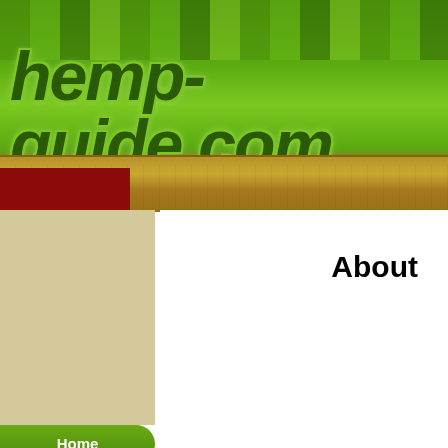[Figure (logo): hemp-guide.com website logo banner with green gradient background and stylized italic text]
Home
Search
About Hemp
Hemp Foods
Hemp Recipes
Hemp Products
Hemp Auction
About